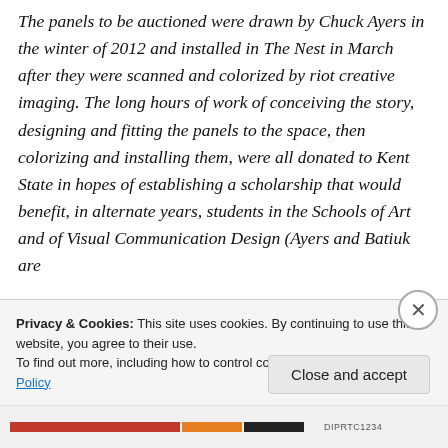The panels to be auctioned were drawn by Chuck Ayers in the winter of 2012 and installed in The Nest in March after they were scanned and colorized by riot creative imaging. The long hours of work of conceiving the story, designing and fitting the panels to the space, then colorizing and installing them, were all donated to Kent State in hopes of establishing a scholarship that would benefit, in alternate years, students in the Schools of Art and of Visual Communication Design (Ayers and Batiuk are
Privacy & Cookies: This site uses cookies. By continuing to use this website, you agree to their use.
To find out more, including how to control cookies, see here: Cookie Policy
Close and accept